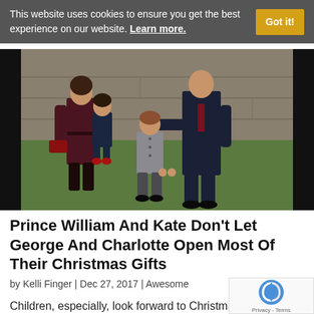This website uses cookies to ensure you get the best experience on our website. Learn more. Got it!
[Figure (photo): Prince William, Kate Middleton holding Princess Charlotte, and Prince George walking outdoors in winter coats near a stone wall on green grass]
Prince William And Kate Don’t Let George And Charlotte Open Most Of Their Christmas Gifts
by Kelli Finger | Dec 27, 2017 | Awesome
Children, especially, look forward to Christmas morning. They’ll wake and notice Santa has dropp by, leaving them presents under the tree. They pester their parents to get up so they can hurry u…